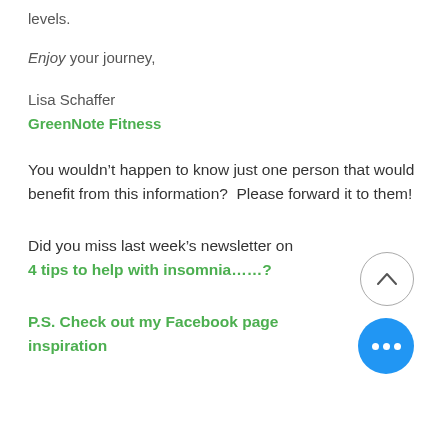levels.
Enjoy your journey,
Lisa Schaffer
GreenNote Fitness
You wouldn’t happen to know just one person that would benefit from this information?  Please forward it to them!
Did you miss last week’s newsletter on 4 tips to help with insomnia……?
P.S. Check out my Facebook page inspiration